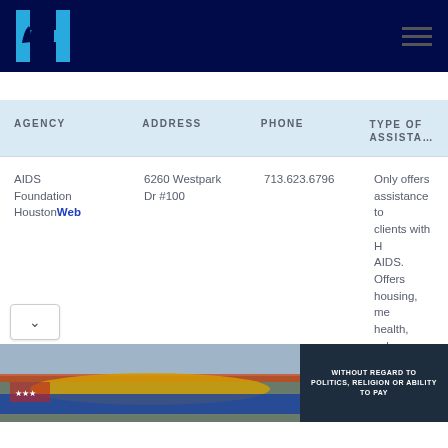AIDS Foundation Houston - Agency Directory
| AGENCY | ADDRESS | PHONE | TYPE OF ASSISTANCE |
| --- | --- | --- | --- |
| AIDS Foundation Houston Web | 6260 Westpark Dr #100 | 713.623.6796 | Only offers assistance to clients with HIV/AIDS. Offers housing, mental health, substance abuse, assistance applying for benefits... |
[Figure (photo): Advertisement banner showing airplane being loaded with cargo, with text WITHOUT REGARD TO POLITICS, RELIGION OR ABILITY TO PAY]